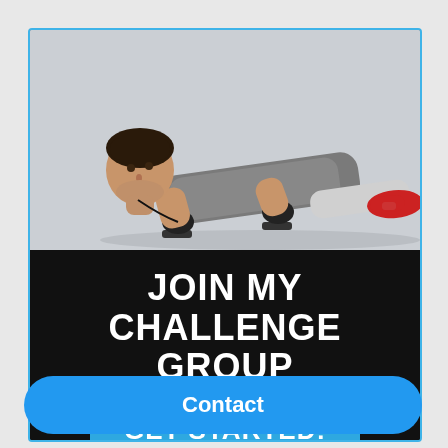[Figure (photo): Fitness advertisement card with blue border showing a muscular man doing push-ups on push-up handles, wearing a grey tank top, grey shorts, and red sneakers with black gloves]
JOIN MY CHALLENGE GROUP
GET STARTED!
Contact